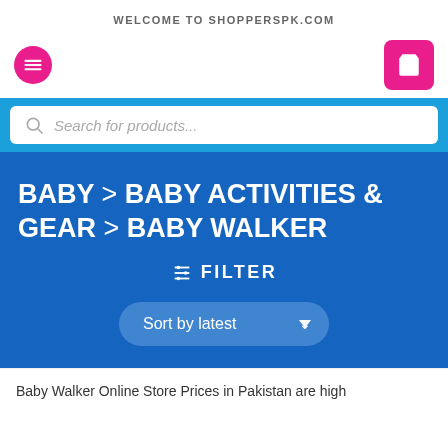WELCOME TO SHOPPERSPK.COM
[Figure (screenshot): Navigation bar with pink circular menu button on left and pink square cart button on right]
[Figure (screenshot): Search bar with magnifier icon and placeholder text 'Search for products...' on blue background]
BABY > BABY ACTIVITIES & GEAR > BABY WALKER
≡ FILTER
Sort by latest
Baby Walker Online Store Prices in Pakistan are high